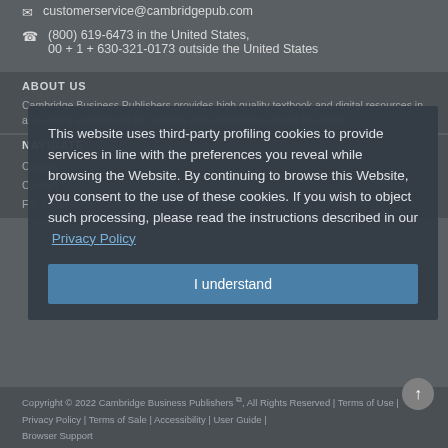customerservice@cambridgepub.com
(800) 619-6473 in the United States, 00 + 1 + 630-321-0173 outside the United States
ABOUT US
Cambridge Business Publishers provides high quality textbook and digital resources in accounting and finance for colleges and universities around the world.
NAVIGATE
Catalog
Contact
For Bookstores
This website uses third-party profiling cookies to provide services in line with the preferences you reveal while browsing the Website. By continuing to browse this Website, you consent to the use of these cookies. If you wish to object such processing, please read the instructions described in our Privacy Policy
I understand
Copyright © 2022 Cambridge Business Publishers, All Rights Reserved | Terms of Use | Privacy Policy | Terms of Sale | Accessibility | User Guide | Browser Support